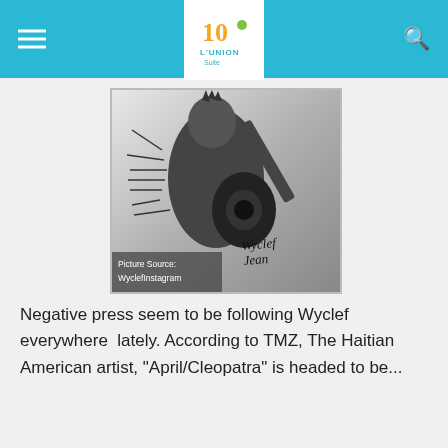L'UNION Suite — navigation header with hamburger menu, logo, and search icon
[Figure (photo): Black and white artistic photo of Wyclef Jean holding a guitar, with a stylized painterly effect. A handwritten signature reading 'Wyclef Jean' appears in the lower right. An overlay in the lower left reads 'Picture Source: WyclefInstagram'.]
Picture Source: WyclefInstagram
Negative press seem to be following Wyclef everywhere  lately. According to TMZ, The Haitian American artist, "April/Cleopatra" is headed to be...